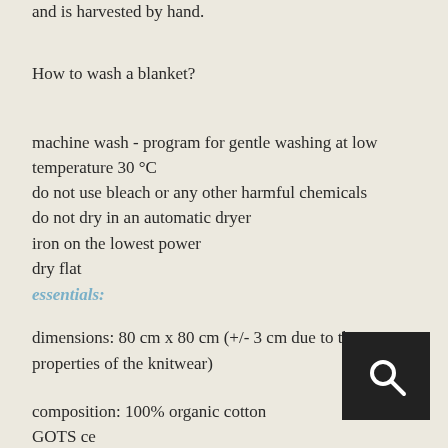and is harvested by hand.
How to wash a blanket?
machine wash - program for gentle washing at low temperature 30 °C
do not use bleach or any other harmful chemicals
do not dry in an automatic dryer
iron on the lowest power
dry flat
essentials:
dimensions: 80 cm x 80 cm (+/- 3 cm due to the properties of the knitwear)
composition: 100% organic cotton GOTS ce